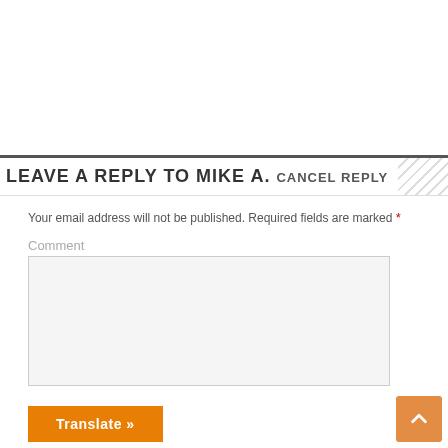LEAVE A REPLY TO MIKE A. CANCEL REPLY
Your email address will not be published. Required fields are marked *
Comment
[Figure (screenshot): Empty comment text area input box with light gray background and border]
[Figure (screenshot): Orange Translate button and orange scroll-to-top arrow button]